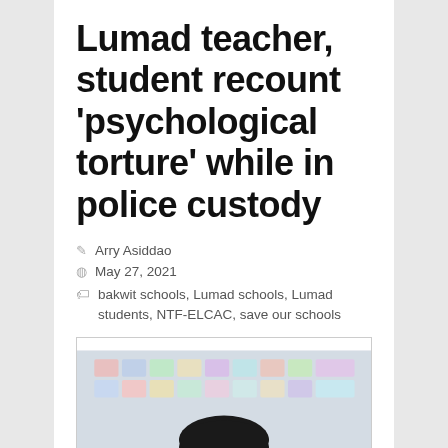Lumad teacher, student recount ‘psychological torture’ while in police custody
Arry Asiddao
May 27, 2021
bakwit schools, Lumad schools, Lumad students, NTF-ELCAC, save our schools
[Figure (photo): A woman wearing a black face mask and headphones, seen from the shoulders up, in front of a wall with papers/posters]